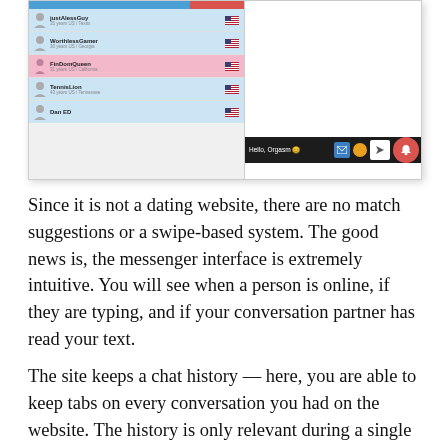[Figure (screenshot): Screenshot of a chat/messenger interface showing a user list on the left with names including 'justAlessGuy', 'WorthlessGamer', 'FinDomQueen', 'TennisLion', and 'Dan ED', each with age/location info and US flag icons. The right panel shows a message compose bar at the bottom with 'Hello, Orgasm' text, icons, and a red notification bell button.]
Since it is not a dating website, there are no match suggestions or a swipe-based system. The good news is, the messenger interface is extremely intuitive. You will see when a person is online, if they are typing, and if your conversation partner has read your text.
The site keeps a chat history — here, you are able to keep tabs on every conversation you had on the website. The history is only relevant during a single user session — there's no way to access